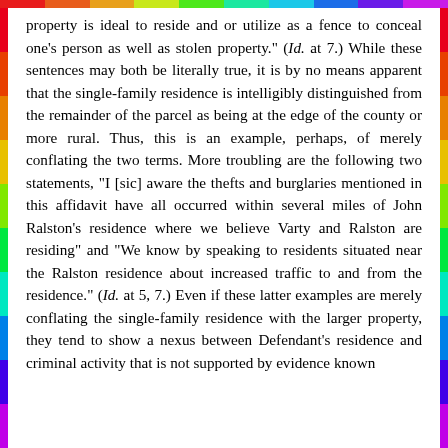property is ideal to reside and or utilize as a fence to conceal one's person as well as stolen property." (Id. at 7.) While these sentences may both be literally true, it is by no means apparent that the single-family residence is intelligibly distinguished from the remainder of the parcel as being at the edge of the county or more rural. Thus, this is an example, perhaps, of merely conflating the two terms. More troubling are the following two statements, "I [sic] aware the thefts and burglaries mentioned in this affidavit have all occurred within several miles of John Ralston's residence where we believe Varty and Ralston are residing" and "We know by speaking to residents situated near the Ralston residence about increased traffic to and from the residence." (Id. at 5, 7.) Even if these latter examples are merely conflating the single-family residence with the larger property, they tend to show a nexus between Defendant's residence and criminal activity that is not supported by evidence known